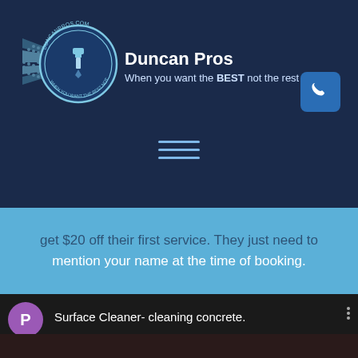[Figure (logo): Duncan Pros logo with circular emblem showing a razor/brush tool, radiating light beam effect, and text DUNCANPROS.COM around the circle]
Duncan Pros
When you want the BEST not the rest
[Figure (other): Phone call icon button in blue rounded square]
[Figure (other): Hamburger menu icon with three horizontal lines]
get $20 off their first service. They just need to mention your name at the time of booking.
Surface Cleaner- cleaning concrete.